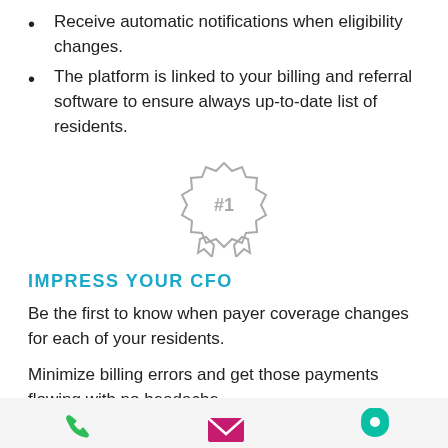Receive automatic notifications when eligibility changes.
The platform is linked to your billing and referral software to ensure always up-to-date list of residents.
[Figure (illustration): Award ribbon / medal icon with #1 text in center, gray outline style]
IMPRESS YOUR CFO
Be the first to know when payer coverage changes for each of your residents.
Minimize billing errors and get those payments flowing with no headache.
[Figure (infographic): Footer bar with three icons: green phone, magenta/pink envelope, teal/green location pin]